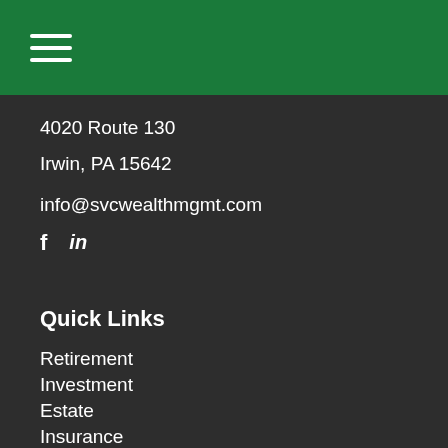Navigation menu header with hamburger icon
4020 Route 130
Irwin, PA 15642
info@svcwealthmgmt.com
f  in
Quick Links
Retirement
Investment
Estate
Insurance
Tax
Money